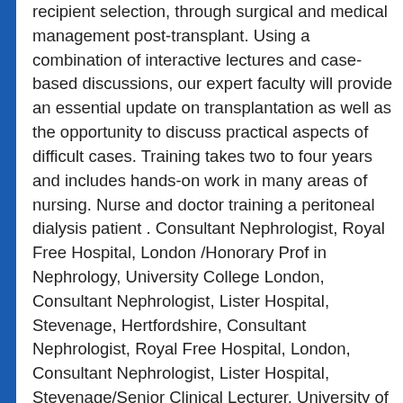recipient selection, through surgical and medical management post-transplant. Using a combination of interactive lectures and case-based discussions, our expert faculty will provide an essential update on transplantation as well as the opportunity to discuss practical aspects of difficult cases. Training takes two to four years and includes hands-on work in many areas of nursing. Nurse and doctor training a peritoneal dialysis patient . Consultant Nephrologist, Royal Free Hospital, London /Honorary Prof in Nephrology, University College London, Consultant Nephrologist, Lister Hospital, Stevenage, Hertfordshire, Consultant Nephrologist, Royal Free Hospital, London, Consultant Nephrologist, Lister Hospital, Stevenage/Senior Clinical Lecturer, University of Hertfordshire, Professor of Kidney Medicine at University College London and Honorary Consultant Nephrologist at Royal Free Hospital. Some patients may opt for home haemodialysis and training will take 3-4 months. Diploma